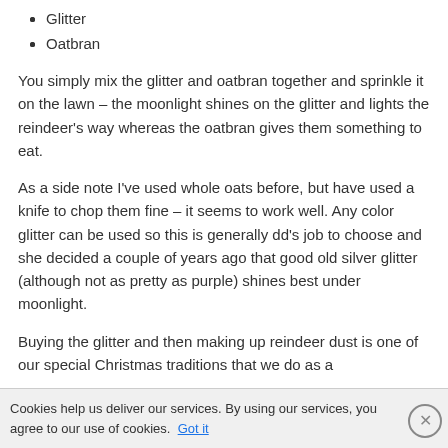Glitter
Oatbran
You simply mix the glitter and oatbran together and sprinkle it on the lawn – the moonlight shines on the glitter and lights the reindeer's way whereas the oatbran gives them something to eat.
As a side note I've used whole oats before, but have used a knife to chop them fine – it seems to work well. Any color glitter can be used so this is generally dd's job to choose and she decided a couple of years ago that good old silver glitter (although not as pretty as purple) shines best under moonlight.
Buying the glitter and then making up reindeer dust is one of our special Christmas traditions that we do as a
Cookies help us deliver our services. By using our services, you agree to our use of cookies. Got it